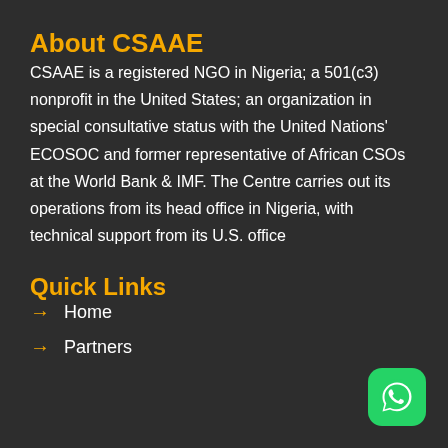About CSAAE
CSAAE is a registered NGO in Nigeria; a 501(c3) nonprofit in the United States; an organization in special consultative status with the United Nations' ECOSOC and former representative of African CSOs at the World Bank & IMF. The Centre carries out its operations from its head office in Nigeria, with technical support from its U.S. office
Quick Links
Home
Partners
[Figure (logo): WhatsApp icon button — green rounded square with white phone/chat bubble logo]